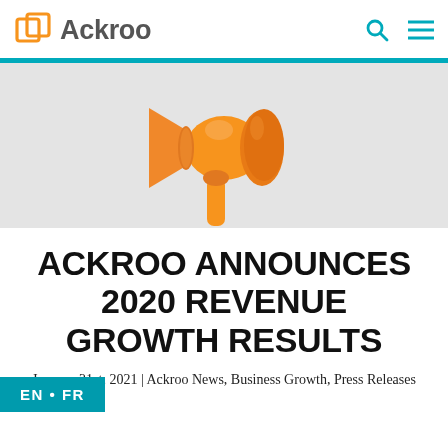Ackroo
[Figure (illustration): Orange megaphone/bullhorn illustration on light gray background]
ACKROO ANNOUNCES 2020 REVENUE GROWTH RESULTS
January 21st, 2021 | Ackroo News, Business Growth, Press Releases